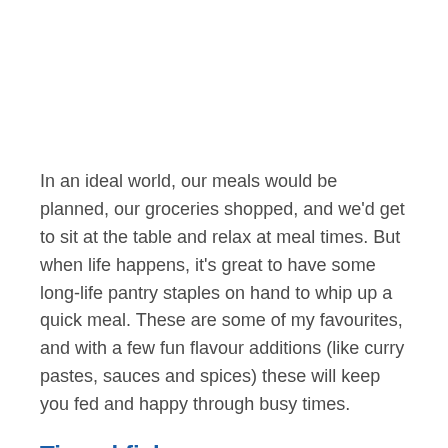In an ideal world, our meals would be planned, our groceries shopped, and we'd get to sit at the table and relax at meal times. But when life happens, it's great to have some long-life pantry staples on hand to whip up a quick meal. These are some of my favourites, and with a few fun flavour additions (like curry pastes, sauces and spices) these will keep you fed and happy through busy times.
Tinned fish
We should aim to have a few fish meals every week, and this is a super convenient way to get it in! Flavoured